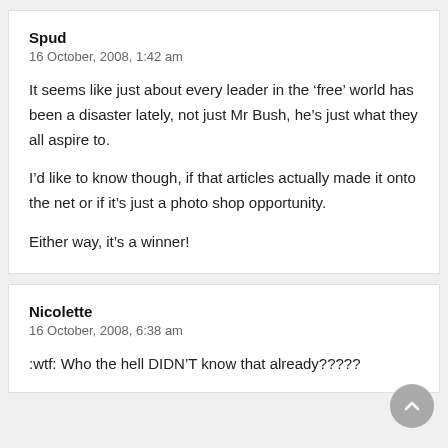Spud
16 October, 2008, 1:42 am
It seems like just about every leader in the ‘free’ world has been a disaster lately, not just Mr Bush, he’s just what they all aspire to.

I’d like to know though, if that articles actually made it onto the net or if it’s just a photo shop opportunity.

Either way, it’s a winner!
Nicolette
16 October, 2008, 6:38 am
:wtf: Who the hell DIDN’T know that already?????